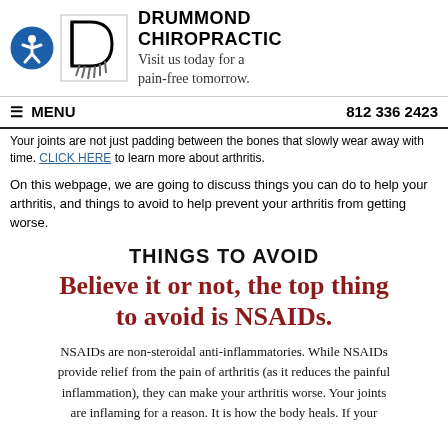[Figure (logo): Drummond Chiropractic logo with accessibility icon (blue circle with person), stylized D with hands, and business name and tagline]
≡ MENU   812 336 2423
Your joints are not just padding between the bones that slowly wear away with time. CLICK HERE to learn more about arthritis.
On this webpage, we are going to discuss things you can do to help your arthritis, and things to avoid to help prevent your arthritis from getting worse.
THINGS TO AVOID
Believe it or not, the top thing to avoid is NSAIDs.
NSAIDs are non-steroidal anti-inflammatories. While NSAIDs provide relief from the pain of arthritis (as it reduces the painful inflammation), they can make your arthritis worse. Your joints are inflaming for a reason. It is how the body heals. If your